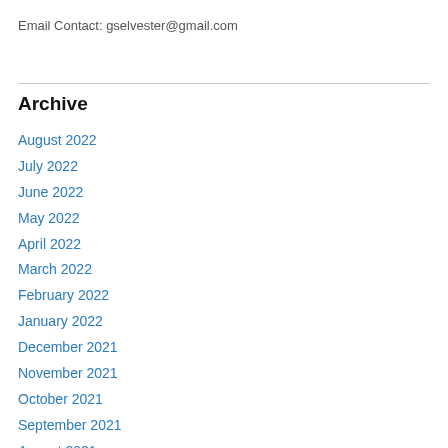Email Contact: gselvester@gmail.com
Archive
August 2022
July 2022
June 2022
May 2022
April 2022
March 2022
February 2022
January 2022
December 2021
November 2021
October 2021
September 2021
August 2021
July 2021